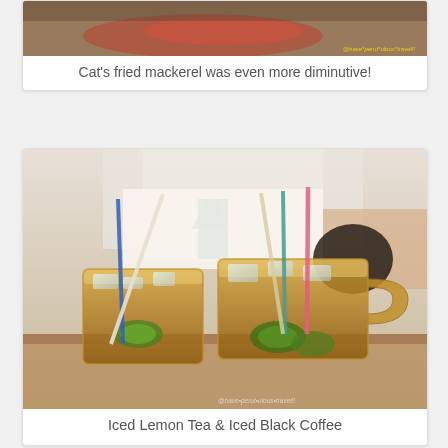[Figure (photo): Partially visible top image, appears to be a plate of fried mackerel, with a watermark reading '@have*perut*ulous*travel!!']
Cat's fried mackerel was even more diminutive!
[Figure (photo): Two large glass mugs of iced lemon tea with straws (blue, white, teal, pink) and lime slices, with a man in a white shirt and green tie in the background. Watermark reads '@have•perut•ulous•travel!!']
Iced Lemon Tea & Iced Black Coffee